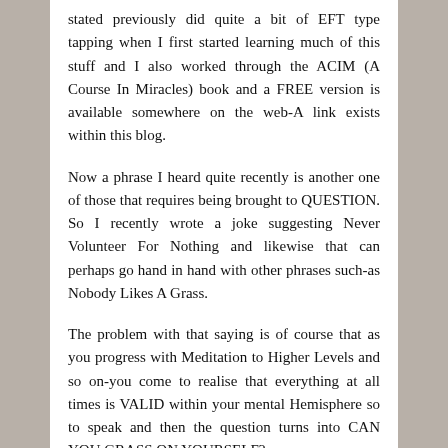stated previously did quite a bit of EFT type tapping when I first started learning much of this stuff and I also worked through the ACIM (A Course In Miracles) book and a FREE version is available somewhere on the web-A link exists within this blog.
Now a phrase I heard quite recently is another one of those that requires being brought to QUESTION. So I recently wrote a joke suggesting Never Volunteer For Nothing and likewise that can perhaps go hand in hand with other phrases such-as Nobody Likes A Grass.
The problem with that saying is of course that as you progress with Meditation to Higher Levels and so on-you come to realise that everything at all times is VALID within your mental Hemisphere so to speak and then the question turns into CAN YOU GRASS ON YOURSELF?
Generally from a deeper level that occurs to the...